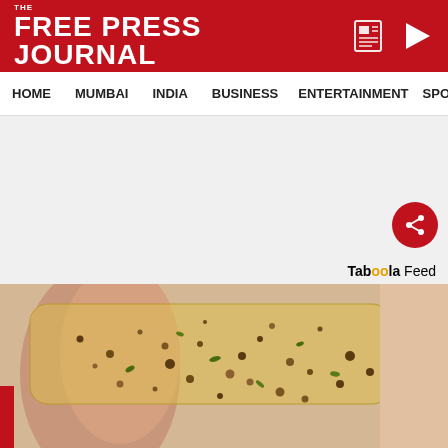THE FREE PRESS JOURNAL
HOME   MUMBAI   INDIA   BUSINESS   ENTERTAINMENT   SPO
[Figure (screenshot): White/grey empty ad banner area with a red circular share button icon on the right side]
Taboola Feed
[Figure (photo): Close-up photo of a hand holding a transparent patch or strip covered with brown/green herb-like specks or seeds, possibly a herbal or skincare product patch]